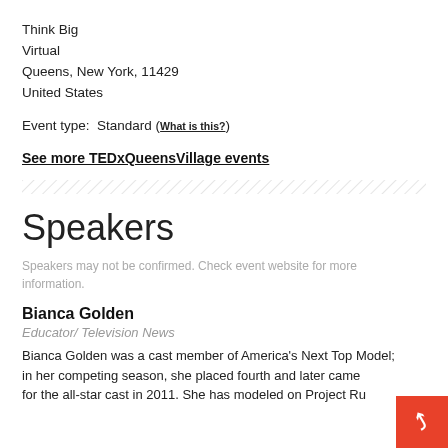Think Big
Virtual
Queens, New York, 11429
United States
Event type:  Standard (What is this?)
See more TEDxQueensVillage events
Speakers
Speakers may not be confirmed. Check event website for more information.
Bianca Golden
Educator/ Television News
Bianca Golden was a cast member of America's Next Top Model; in her competing season, she placed fourth and later came for the all-star cast in 2011. She has modeled on Project Ru...